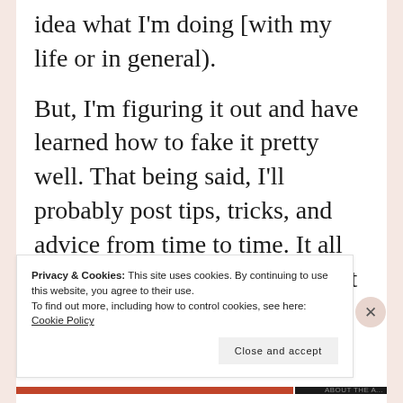idea what I'm doing [with my life or in general).
But, I'm figuring it out and have learned how to fake it pretty well. That being said, I'll probably post tips, tricks, and advice from time to time. It all works for me- but maybe take it with a grain of salt.
Privacy & Cookies: This site uses cookies. By continuing to use this website, you agree to their use.
To find out more, including how to control cookies, see here: Cookie Policy